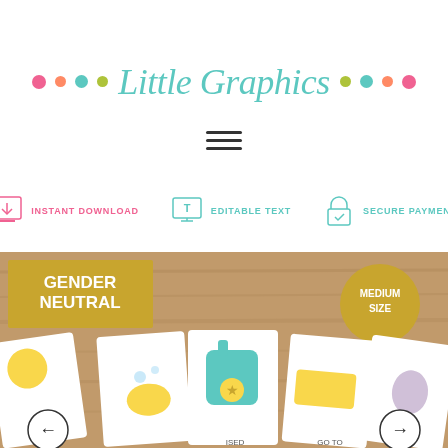Little Graphics
[Figure (logo): Little Graphics logo with colorful dots on left and right sides and teal cursive text in the center]
[Figure (infographic): Three feature icons: Instant Download (pink download icon), Editable Text (monitor with T icon), Secure Payment (padlock with checkmark icon)]
[Figure (photo): Gender Neutral flash cards product image showing multiple illustrated cards with baby/childhood themed images including rubber duck bath, backpack, school bus, and bunny toys on a wooden background. Labels show GENDER NEUTRAL and MEDIUM SIZE.]